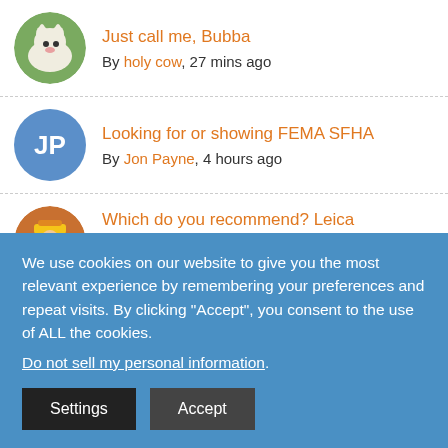Just call me, Bubba — By holy cow, 27 mins ago
Looking for or showing FEMA SFHA — By Jon Payne, 4 hours ago
Which do you recommend? Leica TCRA1105 Plus or TCR705 Auto? — By timd1971, 4 hours ago
Purple paint = no trespassing — By Tom Bushelman, 5 hours ago
We use cookies on our website to give you the most relevant experience by remembering your preferences and repeat visits. By clicking “Accept”, you consent to the use of ALL the cookies.
Do not sell my personal information.